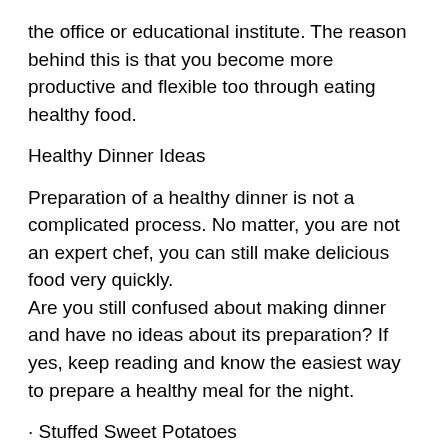the office or educational institute. The reason behind this is that you become more productive and flexible too through eating healthy food.
Healthy Dinner Ideas
Preparation of a healthy dinner is not a complicated process. No matter, you are not an expert chef, you can still make delicious food very quickly.
Are you still confused about making dinner and have no ideas about its preparation? If yes, keep reading and know the easiest way to prepare a healthy meal for the night.
· Stuffed Sweet Potatoes
Beta carotene, vitamin C, potassium, and fiber are the essential nutrients present in sweet potatoes. This super versatile meal is the best food to stay healthy.
For preparing stuffed sweet potatoes, firstly, complete roast potatoes. After it, load it with various food such as